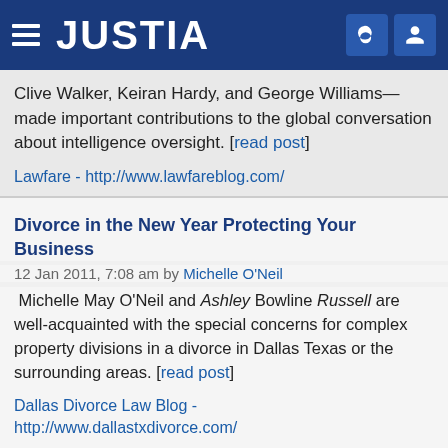JUSTIA
Clive Walker, Keiran Hardy, and George Williams—made important contributions to the global conversation about intelligence oversight. [read post]
Lawfare - http://www.lawfareblog.com/
Divorce in the New Year Protecting Your Business
12 Jan 2011, 7:08 am by Michelle O&apos;Neil
Michelle May O'Neil and Ashley Bowline Russell are well-acquainted with the special concerns for complex property divisions in a divorce in Dallas Texas or the surrounding areas. [read post]
Dallas Divorce Law Blog - http://www.dallastxdivorce.com/